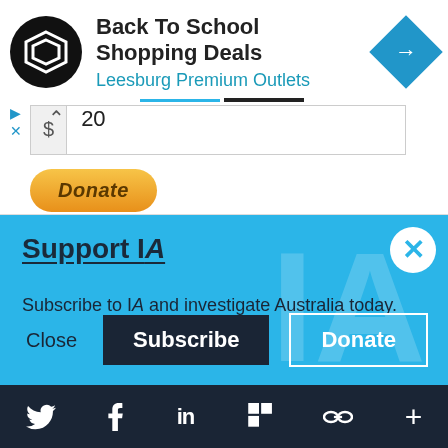[Figure (screenshot): Advertisement banner: Back To School Shopping Deals at Leesburg Premium Outlets with black circular logo and blue diamond navigation icon]
$ 20
[Figure (screenshot): Donate button with orange/yellow gradient and italic bold text 'Donate']
Support IA
Subscribe to IA and investigate Australia today.
[Figure (screenshot): Action buttons: Close, Subscribe, Donate on blue background with close X circle in top right]
Twitter, Facebook, LinkedIn, Flipboard, link, plus social icons